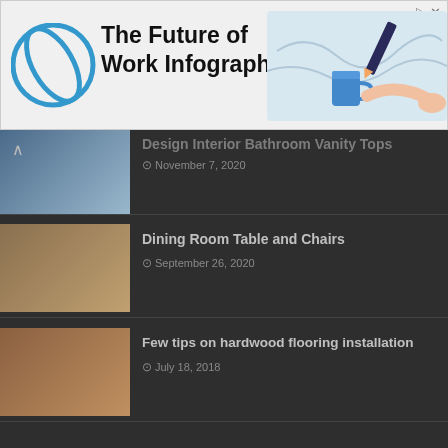[Figure (infographic): Advertisement banner: The Future of Work Infographic with logo and decorative illustration]
Design Interior Bathroom Vanity Tops | November 7, 2020
Dining Room Table and Chairs | September 26, 2020
Few tips on hardwood flooring installation | July 18, 2018
Why to use vinyl tile flooring? | July 19, 2018
Decorating With Some Lovely China Cabinets